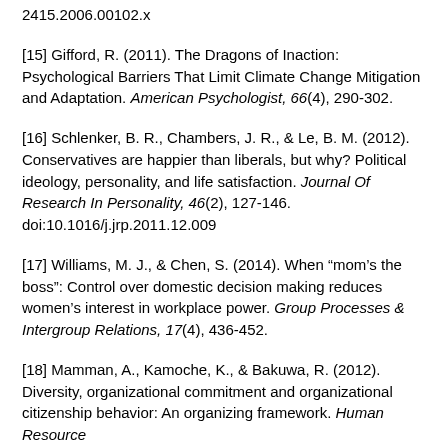2415.2006.00102.x
[15] Gifford, R. (2011). The Dragons of Inaction: Psychological Barriers That Limit Climate Change Mitigation and Adaptation. American Psychologist, 66(4), 290-302.
[16] Schlenker, B. R., Chambers, J. R., & Le, B. M. (2012). Conservatives are happier than liberals, but why? Political ideology, personality, and life satisfaction. Journal Of Research In Personality, 46(2), 127-146. doi:10.1016/j.jrp.2011.12.009
[17] Williams, M. J., & Chen, S. (2014). When “mom’s the boss”: Control over domestic decision making reduces women’s interest in workplace power. Group Processes & Intergroup Relations, 17(4), 436-452.
[18] Mamman, A., Kamoche, K., & Bakuwa, R. (2012). Diversity, organizational commitment and organizational citizenship behavior: An organizing framework. Human Resource